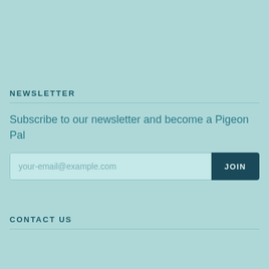NEWSLETTER
Subscribe to our newsletter and become a Pigeon Pal
CONTACT US